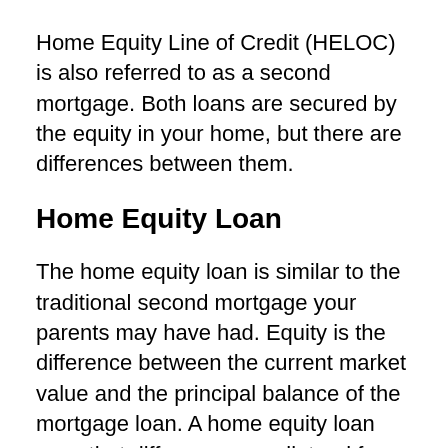Home Equity Line of Credit (HELOC) is also referred to as a second mortgage. Both loans are secured by the equity in your home, but there are differences between them.
Home Equity Loan
The home equity loan is similar to the traditional second mortgage your parents may have had. Equity is the difference between the current market value and the principal balance of the mortgage loan. A home equity loan uses that difference as collateral for a second loan against your home. It doesn't replace a first mortgage. Because it will be the second debt paid if you default on your loans, it has a higher